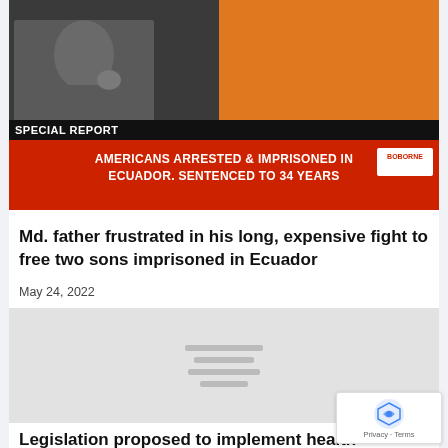[Figure (screenshot): News broadcast screenshot showing a man in a studio with a Special Report banner and red headline bar reading 'AMERICANS ARRESTED & IMPRISONED IN ECUADOR. SENTENCED TO 34 YEARS' with a logo in the corner.]
Md. father frustrated in his long, expensive fight to free two sons imprisoned in Ecuador
May 24, 2022
[Figure (other): Gray loading placeholder image with horizontal loading bars in the center.]
Legislation proposed to implement health care